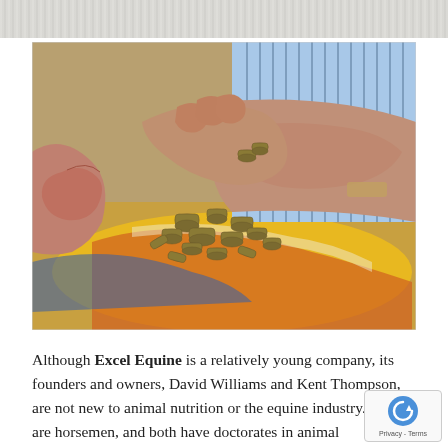[Figure (photo): Close-up photo of two people's hands handling small cylindrical pellets (animal feed/supplements) on a colorful painted surface. The person on the right is wearing a blue and white striped shirt.]
Although Excel Equine is a relatively young company, its founders and owners, David Williams and Kent Thompson, are not new to animal nutrition or the equine industry. They are horsemen, and both have doctorates in animal